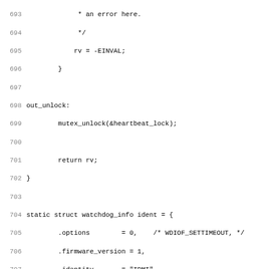Source code listing lines 693-724, C code for IPMI watchdog driver including out_unlock label, watchdog_info struct, and ipmi_ioctl function